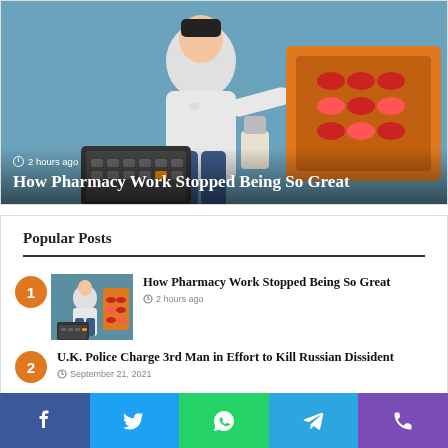[Figure (illustration): Illustrated hero image of a pharmacist working with pills and prescription boxes, with blue background]
2 hours ago
How Pharmacy Work Stopped Being So Great
Popular Posts
1 — How Pharmacy Work Stopped Being So Great — 2 hours ago
2 — U.K. Police Charge 3rd Man in Effort to Kill Russian Dissident — September 21, 2021
3 — U.S.–Mexico Soccer League Announces...